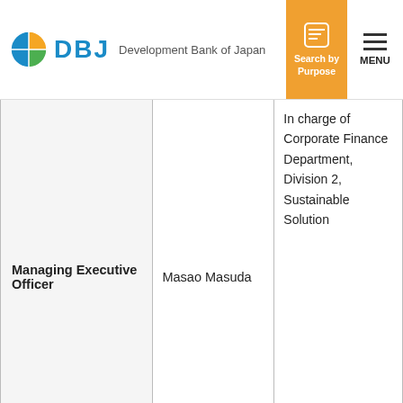DBJ Development Bank of Japan | Search by Purpose | MENU
| Title | Name | Responsibilities |
| --- | --- | --- |
| Managing Executive Officer | Masao Masuda | In charge of Corporate Finance Department, Division 2, Sustainable Solution… |
DBJ uses cookies to maintain and improve the convenience and quality of our website. Refer to our cookies policy to learn how we use cookies. Press the OK button if you accept how we use cookies. If you do not accept how we use cookies, please disable the cookies settings in your browser. See cookies policy ›